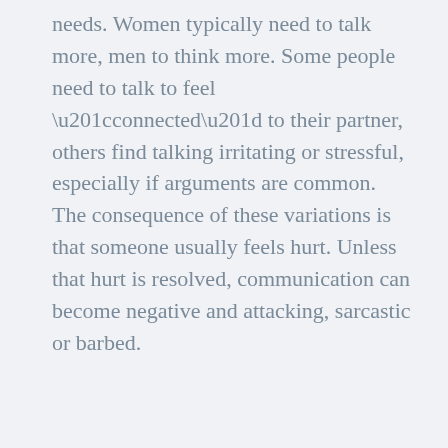needs. Women typically need to talk more, men to think more. Some people need to talk to feel “connected” to their partner, others find talking irritating or stressful, especially if arguments are common. The consequence of these variations is that someone usually feels hurt. Unless that hurt is resolved, communication can become negative and attacking, sarcastic or barbed.